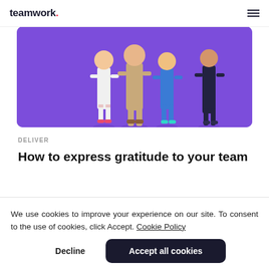teamwork. [hamburger menu]
[Figure (illustration): Purple banner illustration showing stylized figures of people standing together on a purple background, partially cropped at top.]
DELIVER
How to express gratitude to your team
We use cookies to improve your experience on our site. To consent to the use of cookies, click Accept. Cookie Policy
Decline  Accept all cookies